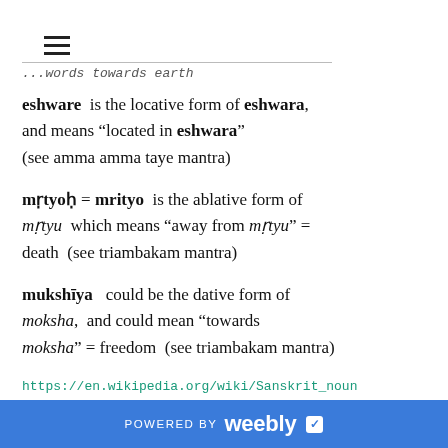≡
...words towards earth
eshware  is the locative form of eshwara, and means "located in eshwara" (see amma amma taye mantra)
mṛtyoḥ = mrityo  is the ablative form of mṛtyu  which means "away from mṛtyu" = death  (see triambakam mantra)
mukshīya   could be the dative form of moksha,  and could mean "towards moksha" = freedom  (see triambakam mantra)
https://en.wikipedia.org/wiki/Sanskrit_noun
POWERED BY weebly